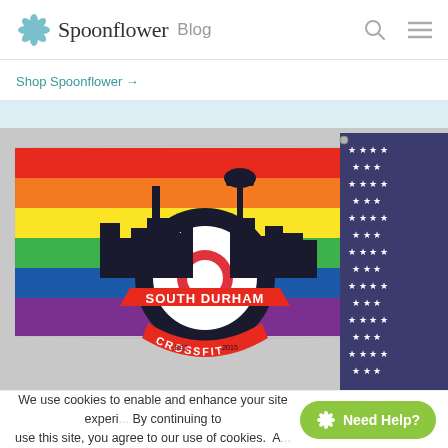Spoonflower Blog
Shop Spoonflower →
[Figure (photo): A rainbow pride flag with a South Durham CrossFit logo (EST. 2015) displayed next to a partially visible American flag with stars on a blue field, both hung on a rack against a white/grey wall.]
We use cookies to enable and enhance your site experi... By continuing to use this site, you agree to our use of cookies. A... Need Help?